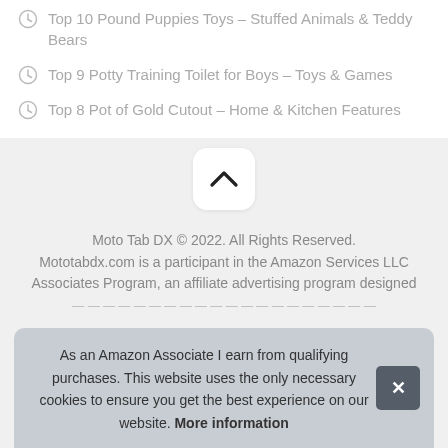Top 10 Pound Puppies Toys – Stuffed Animals & Teddy Bears
Top 9 Potty Training Toilet for Boys – Toys & Games
Top 8 Pot of Gold Cutout – Home & Kitchen Features
Moto Tab DX © 2022. All Rights Reserved. Mototabdx.com is a participant in the Amazon Services LLC Associates Program, an affiliate advertising program designed
As an Amazon Associate I earn from qualifying purchases. This website uses the only necessary cookies to ensure you get the best experience on our website. More information